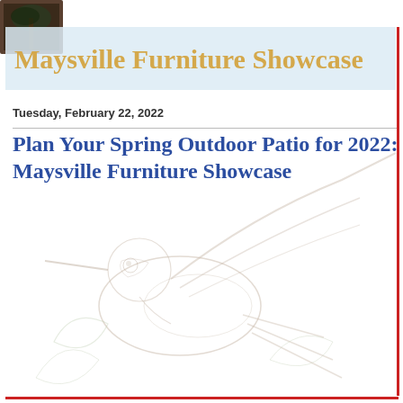Maysville Furniture Showcase
Tuesday, February 22, 2022
Plan Your Spring Outdoor Patio for 2022: Maysville Furniture Showcase
[Figure (illustration): Faded watermark-style background illustration of a decorative bird (hummingbird) with foliage/tropical leaves in light gray/beige tones covering the lower three-quarters of the page, with a small dark photo of a tree/palm in the top-left corner.]